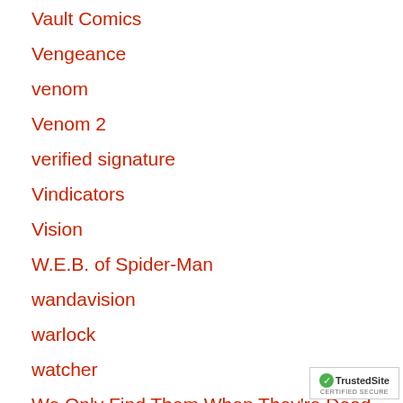Vault Comics
Vengeance
venom
Venom 2
verified signature
Vindicators
Vision
W.E.B. of Spider-Man
wandavision
warlock
watcher
We Only Find Them When They're Dead
Weapon X
[Figure (logo): TrustedSite Certified Secure badge]